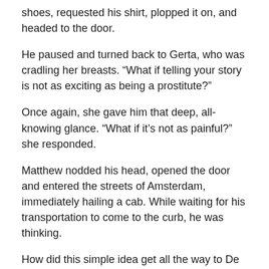shoes, requested his shirt, plopped it on, and headed to the door.
He paused and turned back to Gerta, who was cradling her breasts. “What if telling your story is not as exciting as being a prostitute?”
Once again, she gave him that deep, all-knowing glance. “What if it’s not as painful?” she responded.
Matthew nodded his head, opened the door and entered the streets of Amsterdam, immediately hailing a cab. While waiting for his transportation to come to the curb, he was thinking.
How did this simple idea get all the way to De Wallen Street in Amsterdam?